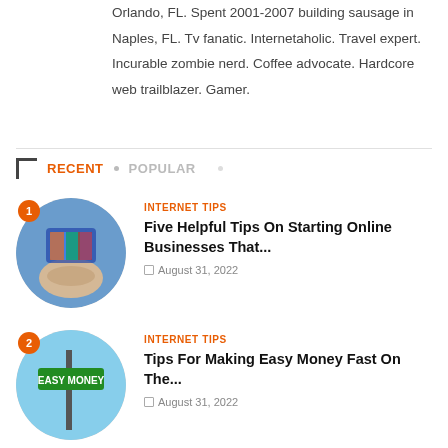Orlando, FL. Spent 2001-2007 building sausage in Naples, FL. Tv fanatic. Internetaholic. Travel expert. Incurable zombie nerd. Coffee advocate. Hardcore web trailblazer. Gamer.
RECENT · POPULAR
[Figure (photo): Circular thumbnail image #1 with orange badge number 1, showing a person holding colorful discs]
INTERNET TIPS
Five Helpful Tips On Starting Online Businesses That...
🗓 August 31, 2022
[Figure (photo): Circular thumbnail image #2 with orange badge number 2, showing an Easy Money street sign against blue sky]
INTERNET TIPS
Tips For Making Easy Money Fast On The...
🗓 August 31, 2022